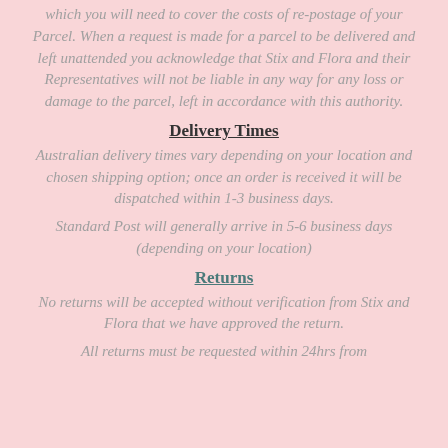which you will need to cover the costs of re-postage of your Parcel. When a request is made for a parcel to be delivered and left unattended you acknowledge that Stix and Flora and their Representatives will not be liable in any way for any loss or damage to the parcel, left in accordance with this authority.
Delivery Times
Australian delivery times vary depending on your location and chosen shipping option; once an order is received it will be dispatched within 1-3 business days.
Standard Post will generally arrive in 5-6 business days (depending on your location)
Returns
No returns will be accepted without verification from Stix and Flora that we have approved the return.
All returns must be requested within 24hrs from